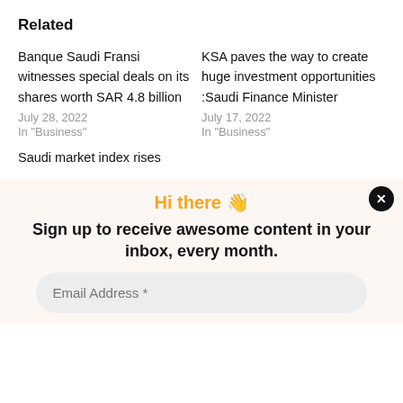Related
Banque Saudi Fransi witnesses special deals on its shares worth SAR 4.8 billion
July 28, 2022
In "Business"
KSA paves the way to create huge investment opportunities :Saudi Finance Minister
July 17, 2022
In "Business"
Saudi market index rises
Hi there 👋
Sign up to receive awesome content in your inbox, every month.
Email Address *